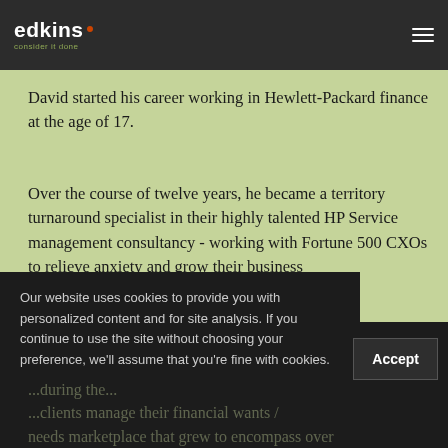edkins · consider it done — Background
David started his career working in Hewlett-Packard finance at the age of 17.
Over the course of twelve years, he became a territory turnaround specialist in their highly talented HP Service management consultancy - working with Fortune 500 CXOs to relieve anxiety and grow their business
Our website uses cookies to provide you with personalized content and for site analysis. If you continue to use the site without choosing your preference, we'll assume that you're fine with cookies.